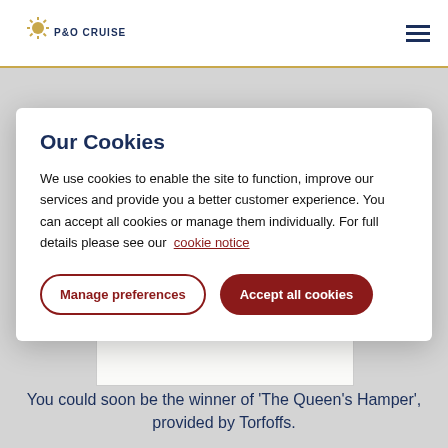[Figure (logo): P&O Cruises logo with sunburst icon and navigation hamburger menu]
Our Cookies
We use cookies to enable the site to function, improve our services and provide you a better customer experience. You can accept all cookies or manage them individually. For full details please see our cookie notice
Manage preferences
Accept all cookies
who have entered
You could soon be the winner of 'The Queen's Hamper', provided by Torfoffs.